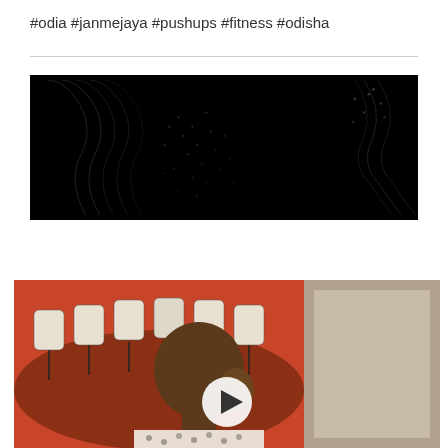#odia #janmejaya #pushups #fitness #odisha
[Figure (photo): Dark/black background video thumbnail with subtle wave/dot pattern texture in grey tones]
[Figure (photo): Video thumbnail showing a person sitting in front of a conference room setting with red/dark chairs and a play button overlay in the center]